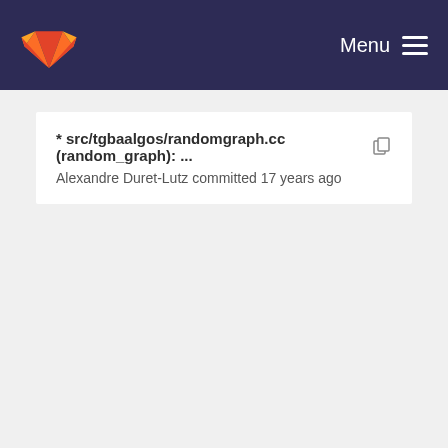Menu
* src/tgbaalgos/randomgraph.cc (random_graph): ...
Alexandre Duret-Lutz committed 17 years ago